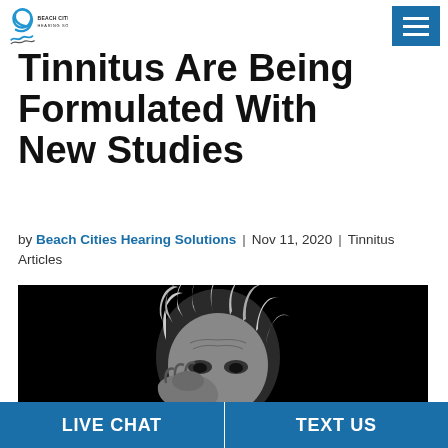Beach Cities Hearing Solutions
Tinnitus Are Being Formulated With New Studies
by Beach Cities Hearing Solutions | Nov 11, 2020 | Tinnitus Articles
[Figure (photo): Black and white portrait photo of an older man with disheveled hair holding his head in his hands, looking distressed against a black background]
LIVE CHAT | TEXT US